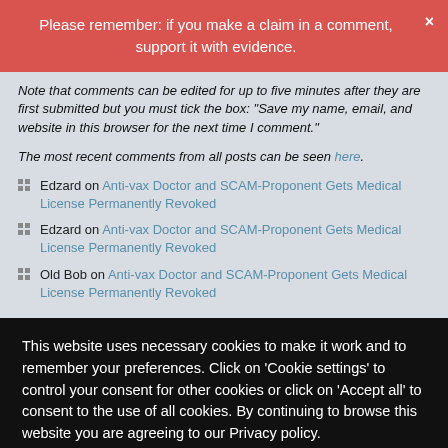Please remember: if you make a claim in a comment, support it with evidence.
Note that comments can be edited for up to five minutes after they are first submitted but you must tick the box: "Save my name, email, and website in this browser for the next time I comment."
The most recent comments from all posts can be seen here.
Edzard on Anti-vax Doctor and SCAM-Proponent Gets Medical License Permanently Revoked
Edzard on Anti-vax Doctor and SCAM-Proponent Gets Medical License Permanently Revoked
Old Bob on Anti-vax Doctor and SCAM-Proponent Gets Medical License Permanently Revoked
This website uses necessary cookies to make it work and to remember your preferences. Click on 'Cookie settings' to control your consent for other cookies or click on 'Accept all' to consent to the use of all cookies. By continuing to browse this website you are agreeing to our Privacy policy.